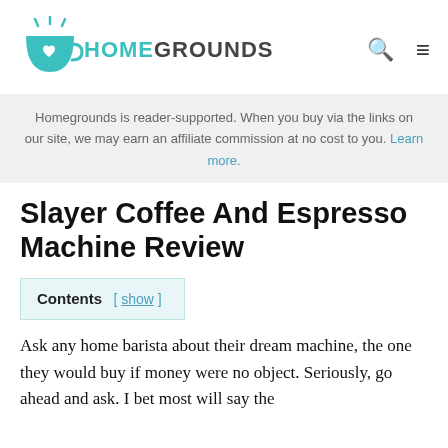HOMEGROUNDS
Homegrounds is reader-supported. When you buy via the links on our site, we may earn an affiliate commission at no cost to you. Learn more.
Slayer Coffee And Espresso Machine Review
Contents [ show ]
Ask any home barista about their dream machine, the one they would buy if money were no object. Seriously, go ahead and ask. I bet most will say the